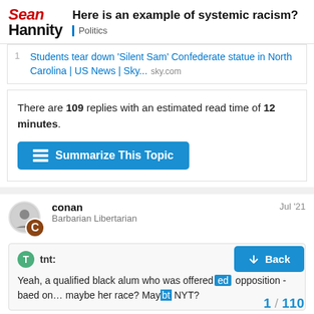Sean Hannity — Here is an example of systemic racism? Politics
1 Students tear down 'Silent Sam' Confederate statue in North Carolina | US News | Sky... sky.com
There are 109 replies with an estimated read time of 12 minutes.
Summarize This Topic
conan — Barbarian Libertarian — Jul '21
tnt:
Yeah, a qualified black alum who was offered opposition - baed on… maybe her race? May NYT?
Back
1 / 110